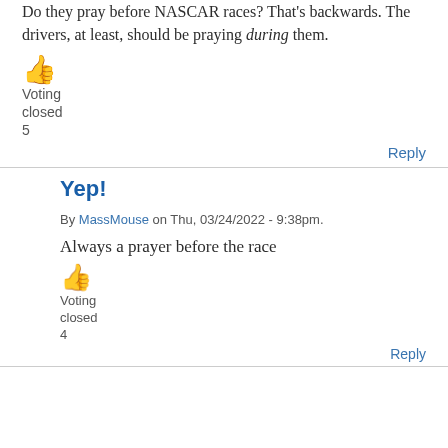Do they pray before NASCAR races? That's backwards. The drivers, at least, should be praying during them.
[Figure (illustration): Orange thumbs up emoji icon]
Voting
closed
5
Reply
Yep!
By MassMouse on Thu, 03/24/2022 - 9:38pm.
Always a prayer before the race
[Figure (illustration): Orange thumbs up emoji icon]
Voting
closed
4
Reply